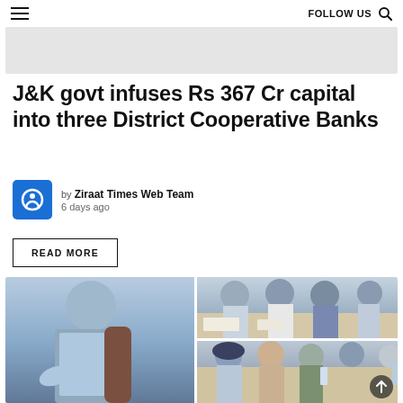≡   FOLLOW US 🔍
[Figure (other): Gray advertisement banner placeholder]
J&K govt infuses Rs 367 Cr capital into three District Cooperative Banks
by Ziraat Times Web Team
6 days ago
READ MORE
[Figure (photo): Meeting scene: left panel shows a man in light blue shirt speaking; right top panel shows officials seated at a conference table with papers; right bottom panel shows more attendees at the meeting including a woman in hijab.]